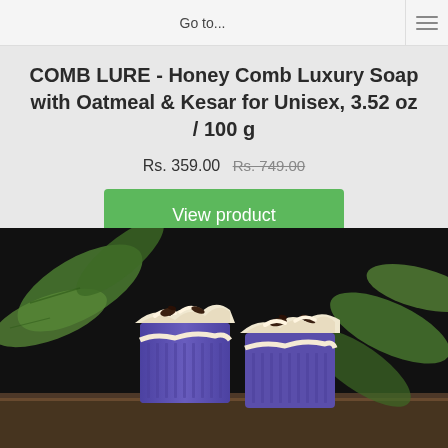Go to...
COMB LURE - Honey Comb Luxury Soap with Oatmeal & Kesar for Unisex, 3.52 oz / 100 g
Rs. 359.00  Rs. 749.00
View product
[Figure (photo): Product photo of handcrafted luxury soap bars with blue and cream layers, decorated with dark toppings, surrounded by green leaves on a dark background]